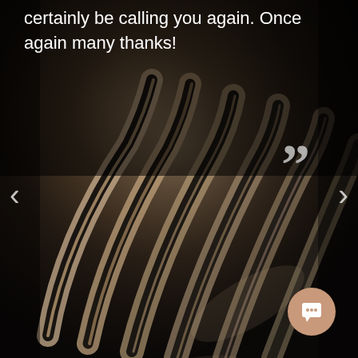[Figure (photo): Dark photograph of a reflective sculptural metallic object with curved fin-like forms, serving as background for a testimonial carousel]
certainly be calling you again. Once again many thanks!
[Figure (other): Left navigation arrow '<' for carousel]
[Figure (other): Closing quotation mark '"' decorative element]
[Figure (other): Right navigation arrow '>' for carousel]
[Figure (other): Chat/messenger button icon in bottom right corner with peach/tan circular background]